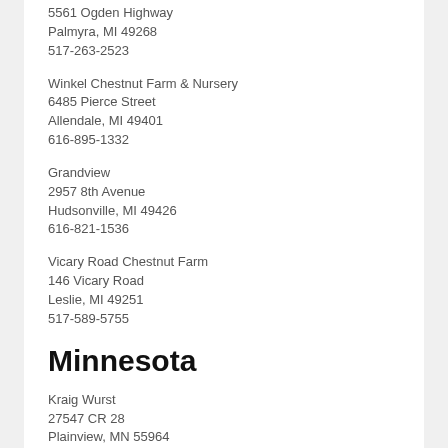Mike and Rose Powell
5561 Ogden Highway
Palmyra, MI 49268
517-263-2523
Winkel Chestnut Farm & Nursery
6485 Pierce Street
Allendale, MI 49401
616-895-1332
Grandview
2957 8th Avenue
Hudsonville, MI 49426
616-821-1536
Vicary Road Chestnut Farm
146 Vicary Road
Leslie, MI 49251
517-589-5755
Minnesota
Kraig Wurst
27547 CR 28
Plainview, MN 55964